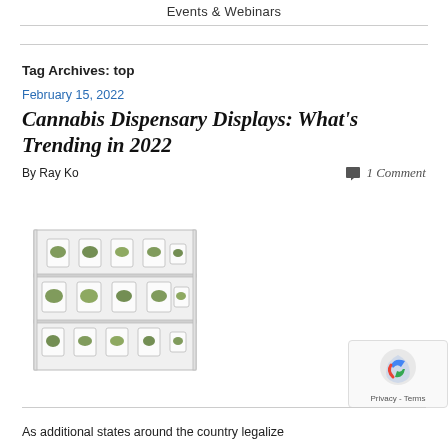Events & Webinars
Tag Archives: top
February 15, 2022
Cannabis Dispensary Displays: What's Trending in 2022
By Ray Ko   1 Comment
[Figure (photo): A clear acrylic multi-tier display case with small glass containers holding cannabis buds arranged in three rows]
As additional states around the country legalize